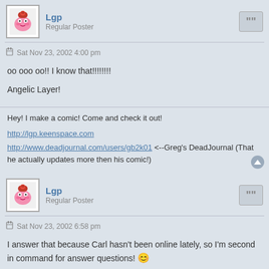Lgp
Regular Poster
Sat Nov 23, 2002 4:00 pm
oo ooo oo!! I know that!!!!!!!!
Angelic Layer!
Hey! I make a comic! Come and check it out!
http://lgp.keenspace.com
http://www.deadjournal.com/users/gb2k01 <--Greg's DeadJournal (That he actually updates more then his comic!)
Lgp
Regular Poster
Sat Nov 23, 2002 6:58 pm
I answer that because Carl hasn't been online lately, so I'm second in command for answer questions! 😀